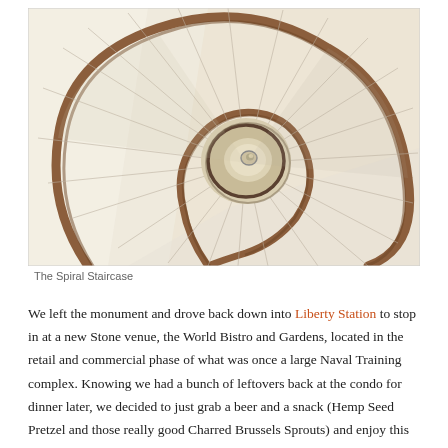[Figure (photo): Aerial looking-down view of a spiral staircase with wooden handrail, cream walls, and radiating steps forming a nautilus shell pattern. The staircase spirals inward to a small circular landing at the center.]
The Spiral Staircase
We left the monument and drove back down into Liberty Station to stop in at a new Stone venue, the World Bistro and Gardens, located in the retail and commercial phase of what was once a large Naval Training complex. Knowing we had a bunch of leftovers back at the condo for dinner later, we decided to just grab a beer and a snack (Hemp Seed Pretzel and those really good Charred Brussels Sprouts) and enjoy this new facility. As with